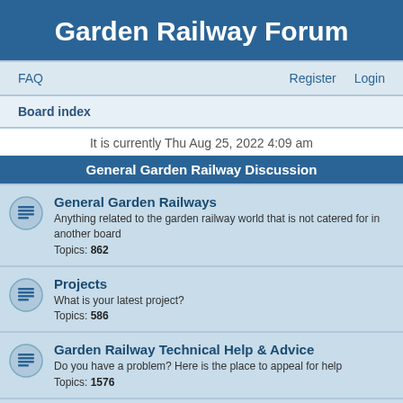Garden Railway Forum
FAQ   Register   Login
Board index
It is currently Thu Aug 25, 2022 4:09 am
General Garden Railway Discussion
General Garden Railways
Anything related to the garden railway world that is not catered for in another board
Topics: 862
Projects
What is your latest project?
Topics: 586
Garden Railway Technical Help & Advice
Do you have a problem? Here is the place to appeal for help
Topics: 1576
Photographs
If you would like to share some of your garden railway photographs or photos of prototypes which might inspire members, then please post them in here
Topics: 922
Quarterly Garden Railway Gallery
The quarterly gallery of entries and voted best pictures